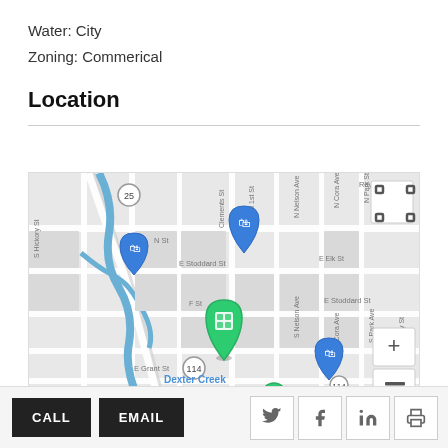Water: City
Zoning: Commerical
Location
[Figure (map): Street map showing location near Dexter Creek, with green building marker on Clements St, blue shopping markers nearby, route 25 and 114 visible, zoom controls and fullscreen button on right side.]
CALL  EMAIL  (social icons: Twitter, Facebook, LinkedIn, Print)